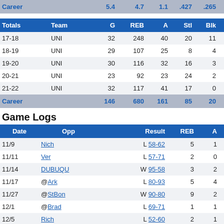| Totals | Team | G | REB | A | Stl | Blk | Pts |
| --- | --- | --- | --- | --- | --- | --- | --- |
| Career |  | 5.4 | 4.7 | 1.1 | .427 | .265 | .690 |
| 17-18 | UNI | 32 | 248 | 40 | 20 | 11 | 292 |
| 18-19 | UNI | 29 | 107 | 25 | 8 | 4 | 117 |
| 19-20 | UNI | 30 | 116 | 32 | 16 | 3 | 109 |
| 20-21 | UNI | 23 | 92 | 23 | 24 | 2 | 112 |
| 21-22 | UNI | 32 | 117 | 41 | 17 | 0 | 161 |
| Career |  | 146 | 680 | 161 | 85 | 20 | 791 |
Game Logs
| Date | Opp | Result | REB | A | Pts |
| --- | --- | --- | --- | --- | --- |
| 11/9 | Nich | L 58-62 | 5 | 1 | 13 |
| 11/11 | Ver | L 57-71 | 2 | 0 | 2 |
| 11/14 | DUBUQU | W 95-58 | 3 | 2 | 13 |
| 11/17 | @Ark | L 80-93 | 5 | 4 | 5 |
| 11/27 | @StBon | W 90-80 | 9 | 2 | 5 |
| 12/1 | @Brad | L 69-71 | 1 | 1 | 0 |
| 12/5 | Rich | L 52-60 | 2 | 1 | 0 |